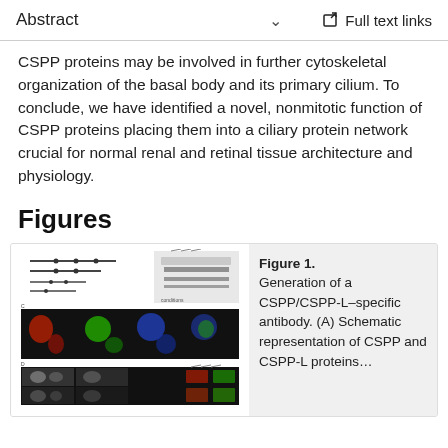Abstract   ∨   Full text links
CSPP proteins may be involved in further cytoskeletal organization of the basal body and its primary cilium. To conclude, we have identified a novel, nonmitotic function of CSPP proteins placing them into a ciliary protein network crucial for normal renal and retinal tissue architecture and physiology.
Figures
[Figure (photo): Microscopy figure showing schematic diagrams and fluorescence images of CSPP/CSPP-L protein localization experiments]
Figure 1. Generation of a CSPP/CSPP-L–specific antibody. (A) Schematic representation of CSPP and CSPP-L proteins...